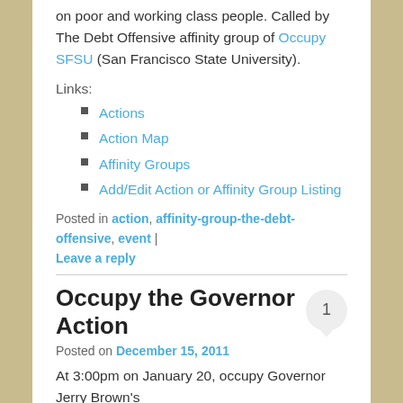on poor and working class people. Called by The Debt Offensive affinity group of Occupy SFSU (San Francisco State University).
Links:
Actions
Action Map
Affinity Groups
Add/Edit Action or Affinity Group Listing
Posted in action, affinity-group-the-debt-offensive, event | Leave a reply
Occupy the Governor Action
Posted on December 15, 2011
At 3:00pm on January 20, occupy Governor Jerry Brown's